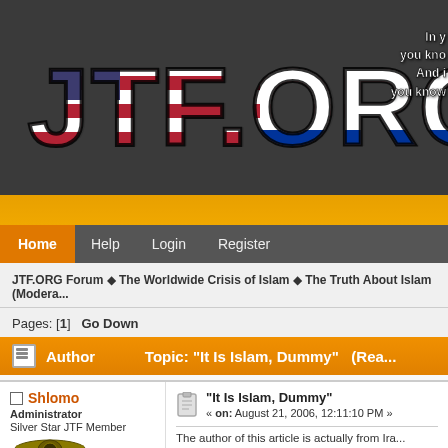[Figure (screenshot): JTF.ORG website banner with logo text styled with American and Israeli flags, dark gray background, with tagline text on the right side partially cut off reading 'In y... you kno... And i... you know']
Home  Help  Login  Register
JTF.ORG Forum ◆ The Worldwide Crisis of Islam ◆ The Truth About Islam (Modera...
Pages: [1]  Go Down
Author  Topic: "It Is Islam, Dummy"  (Rea...
0 Members and 1 Guest are viewing this topic.
Shlomo
Administrator
Silver Star JTF Member
"It Is Islam, Dummy"
« on: August 21, 2006, 12:11:10 PM »
The author of this article is actually from Ira...
http://www.newmediajournal.us/staff/imania...